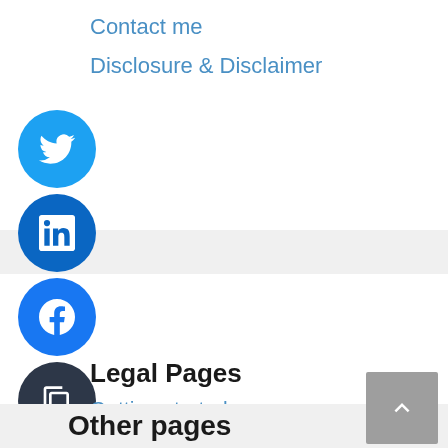Contact me
Disclosure & Disclaimer
[Figure (illustration): Social sharing buttons: Twitter (blue circle), LinkedIn (dark blue circle), Facebook (blue circle), Copy (dark circle), Email (dark circle), Print (dark circle), Plus/More (light gray circle)]
Legal Pages
Getting started
Our Mission Statement
Terms of Use
[Figure (illustration): Scroll to top button (gray rounded square with upward chevron)]
Other pages